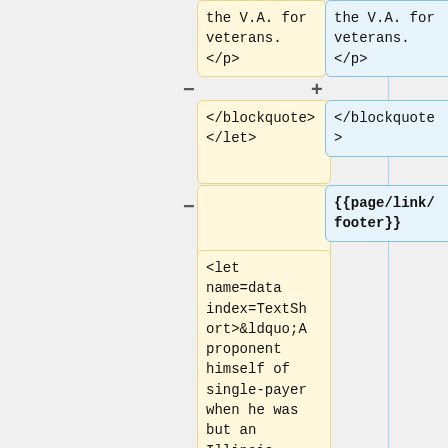the V.A. for veterans.
</p>
the V.A. for veterans.
</p>
</blockquote></let>
</blockquote>
>
{{page/link/footer}}
<let name=data index=TextShort>&ldquo;A proponent himself of single-payer when he was but an Illinois legislator, [[Barack